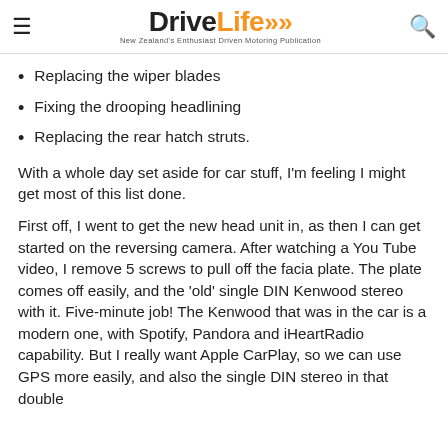DriveLife — New Zealand's Enthusiast Driven Motoring Publication
Replacing the wiper blades
Fixing the drooping headlining
Replacing the rear hatch struts.
With a whole day set aside for car stuff, I'm feeling I might get most of this list done.
First off, I went to get the new head unit in, as then I can get started on the reversing camera. After watching a You Tube video, I remove 5 screws to pull off the facia plate. The plate comes off easily, and the 'old' single DIN Kenwood stereo with it. Five-minute job! The Kenwood that was in the car is a modern one, with Spotify, Pandora and iHeartRadio capability. But I really want Apple CarPlay, so we can use GPS more easily, and also the single DIN stereo in that double